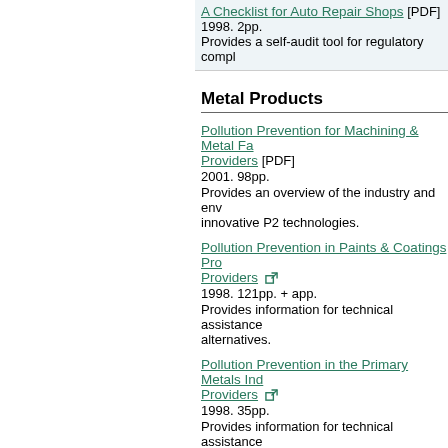A Checklist for Auto Repair Shops [PDF]
1998. 2pp.
Provides a self-audit tool for regulatory compl...
Metal Products
Pollution Prevention for Machining & Metal Fa... Providers [PDF]
2001. 98pp.
Provides an overview of the industry and env... innovative P2 technologies.
Pollution Prevention in Paints & Coatings Pro... Providers
1998. 121pp. + app.
Provides information for technical assistance... alternatives.
Pollution Prevention in the Primary Metals Ind... Providers
1998. 35pp.
Provides information for technical assistance... P2 options and alternatives.
Pollution Prevention in Metal Finishing: A Mar...
1997. 170pp. + app.
Provides information for technical assistance... alternatives.